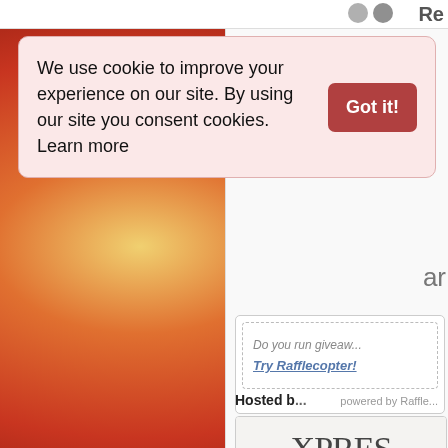[Figure (screenshot): Screenshot of a webpage showing a cookie consent banner overlay on a page with a warm bokeh background on the left and a white sidebar on the right containing a Rafflecopter giveaway widget and an Xpresso Book Tours logo.]
We use cookie to improve your experience on our site. By using our site you consent cookies. Learn more
Got it!
Do you run giveaw...
Try Rafflecopter!
powered by Raffle...
Hosted b...
[Figure (logo): Xpresso Book Tours logo with large XPRES text and script 'book' below, on a light background with a dark blue bar at the bottom showing www.xpressoboo...]